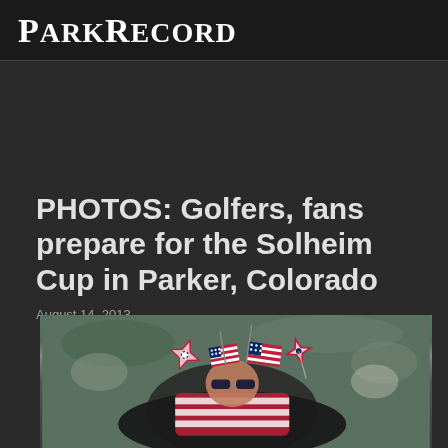ParkRecord
PHOTOS: Golfers, fans prepare for the Solheim Cup in Parker, Colorado
August 14, 2013
[Figure (photo): Fans at the Solheim Cup wearing American flag accessories including pinwheel hats and patriotic clothing, with a crowd visible in the background]